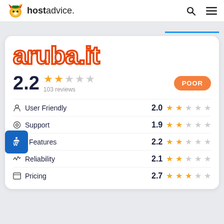hostadvice.
[Figure (screenshot): hostadvice.com website screenshot showing aruba.it review page with ratings]
aruba.it
2.2 ★★☆☆☆ 103 reviews POOR
| Category | Score | Stars |
| --- | --- | --- |
| User Friendly | 2.0 | ★★☆☆☆ |
| Support | 1.9 | ★★☆☆☆ |
| Features | 2.2 | ★★☆☆☆ |
| Reliability | 2.1 | ★★☆☆☆ |
| Pricing | 2.7 | ★★★☆☆ |